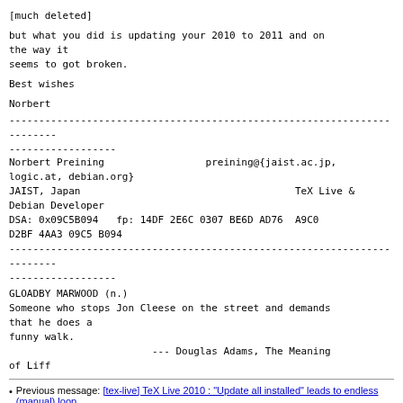[much deleted]
but what you did is updating your 2010 to 2011 and on the way it
seems to got broken.
Best wishes
Norbert
Norbert Preining                 preining@{jaist.ac.jp,
logic.at, debian.org}
JAIST, Japan                                    TeX Live &
Debian Developer
DSA: 0x09C5B094   fp: 14DF 2E6C 0307 BE6D AD76  A9C0
D2BF 4AA3 09C5 B094
GLOADBY MARWOOD (n.)
Someone who stops Jon Cleese on the street and demands
that he does a
funny walk.
                        --- Douglas Adams, The Meaning
of Liff
Previous message: [tex-live] TeX Live 2010 : "Update all installed" leads to endless (manual) loop